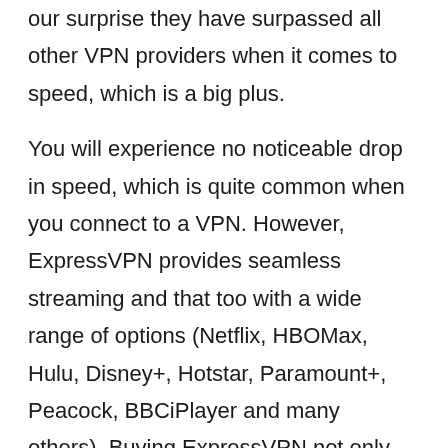our surprise they have surpassed all other VPN providers when it comes to speed, which is a big plus.
You will experience no noticeable drop in speed, which is quite common when you connect to a VPN. However, ExpressVPN provides seamless streaming and that too with a wide range of options (Netflix, HBOMax, Hulu, Disney+, Hotstar, Paramount+, Peacock, BBCiPlayer and many others). Buying ExpressVPN not only brings you peace of mind, but also unblocks thousands of streaming platforms and channels from around the world.